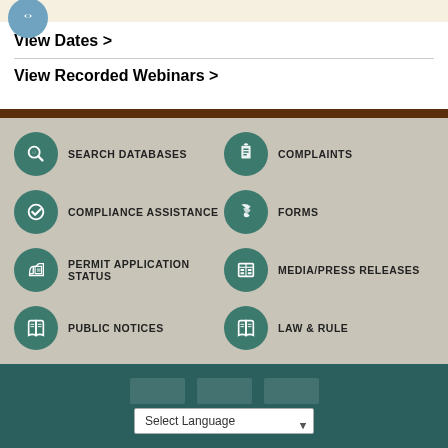View Dates >
View Recorded Webinars >
[Figure (infographic): Navigation icon grid with teal circular icons and labels: Search Databases, Compliance Assistance, Permit Application Status, Public Notices, Complaints, Forms, Media/Press Releases, Law & Rule]
CONTACT US | ACCESSIBILITY POLICY | CIVIL RIGHTS |